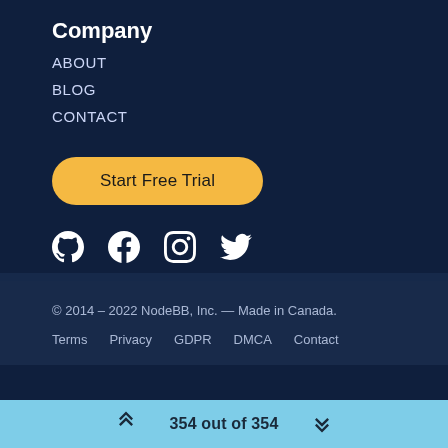Company
ABOUT
BLOG
CONTACT
Start Free Trial
[Figure (illustration): Social media icons: GitHub, Facebook, Instagram, Twitter]
© 2014 – 2022 NodeBB, Inc. — Made in Canada.
Terms   Privacy   GDPR   DMCA   Contact
354 out of 354